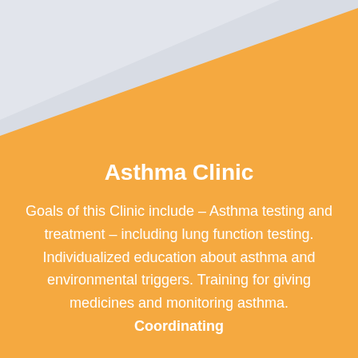[Figure (illustration): Decorative background with gray triangle in upper-left corner over orange background]
Asthma Clinic
Goals of this Clinic include – Asthma testing and treatment – including lung function testing. Individualized education about asthma and environmental triggers. Training for giving medicines and monitoring asthma. Coordinating